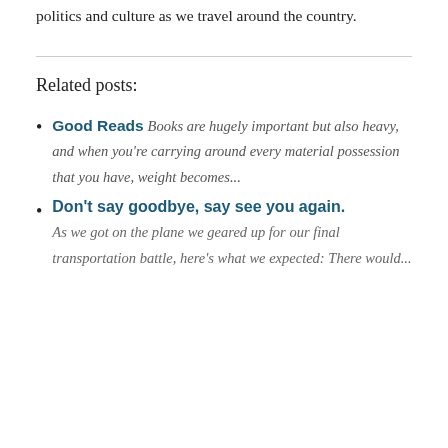politics and culture as we travel around the country.
Related posts:
Good Reads Books are hugely important but also heavy, and when you're carrying around every material possession that you have, weight becomes...
Don't say goodbye, say see you again. As we got on the plane we geared up for our final transportation battle, here's what we expected: There would...